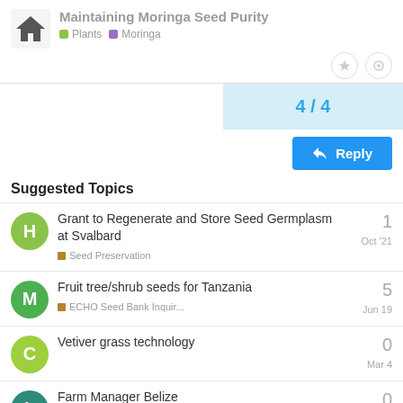Maintaining Moringa Seed Purity | Plants | Moringa
4 / 4
Reply
Suggested Topics
Grant to Regenerate and Store Seed Germplasm at Svalbard | Seed Preservation | 1 | Oct '21
Fruit tree/shrub seeds for Tanzania | ECHO Seed Bank Inquir... | 5 | Jun 19
Vetiver grass technology | 0 | Mar 4
Farm Manager Belize | Exploring Careers | 0 | Apr 26